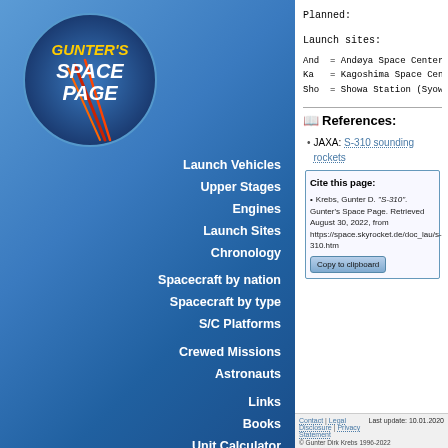[Figure (logo): Gunter's Space Page logo - circular blue badge with rocket and text]
Launch Vehicles
Upper Stages
Engines
Launch Sites
Chronology
Spacecraft by nation
Spacecraft by type
S/C Platforms
Crewed Missions
Astronauts
Links
Books
Unit Calculator
Contact
Planned:
Launch sites:
And  = Andøya Space Center (Andøya Rocket Ra
Ka   = Kagoshima Space Center / Uchinoura Sp
Sho  = Showa Station (Syowa Station), East O
References:
JAXA: S-310 sounding rockets
Cite this page:
Krebs, Gunter D. "S-310". Gunter's Space Page. Retrieved August 30, 2022, from https://space.skyrocket.de/doc_lau/s-310.htm
Contact | Legal Disclosure | Privacy Statement
Last update: 10.01.2020
© Gunter Dirk Krebs 1996-2022